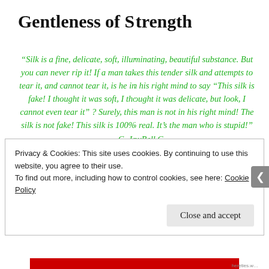Gentleness of Strength
“Silk is a fine, delicate, soft, illuminating, beautiful substance. But you can never rip it! If a man takes this tender silk and attempts to tear it, and cannot tear it, is he in his right mind to say “This silk is fake! I thought it was soft, I thought it was delicate, but look, I cannot even tear it” ? Surely, this man is not in his right mind! The silk is not fake! This silk is 100% real. It’s the man who is stupid!” — C. JoyBell C.
Privacy & Cookies: This site uses cookies. By continuing to use this website, you agree to their use.
To find out more, including how to control cookies, see here: Cookie Policy
Close and accept